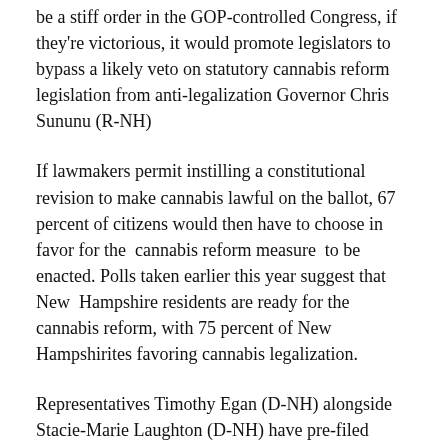be a stiff order in the GOP-controlled Congress, if they're victorious, it would promote legislators to bypass a likely veto on statutory cannabis reform legislation from anti-legalization Governor Chris Sununu (R-NH)
If lawmakers permit instilling a constitutional revision to make cannabis lawful on the ballot, 67 percent of citizens would then have to choose in favor for the cannabis reform measure to be enacted. Polls taken earlier this year suggest that New Hampshire residents are ready for the cannabis reform, with 75 percent of New Hampshirites favoring cannabis legalization.
Representatives Timothy Egan (D-NH) alongside Stacie-Marie Laughton (D-NH) have pre-filed legalization concerning cannabis reform for next year.